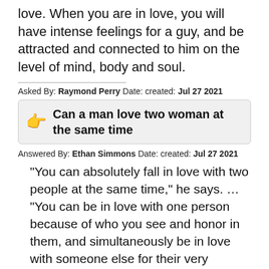love. When you are in love, you will have intense feelings for a guy, and be attracted and connected to him on the level of mind, body and soul.
Asked By: Raymond Perry Date: created: Jul 27 2021
Can a man love two woman at the same time
Answered By: Ethan Simmons Date: created: Jul 27 2021
“You can absolutely fall in love with two people at the same time,” he says. … “You can be in love with one person because of who you see and honor in them, and simultaneously be in love with someone else for their very different yet equally resonant being,”